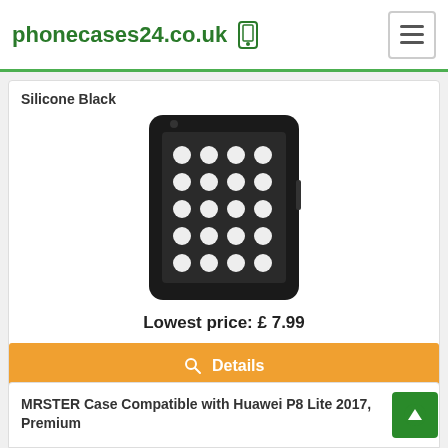phonecases24.co.uk
Silicone Black
[Figure (photo): Black phone case with white polka dot pattern, shown at an angle displaying the back of the case fitted on a smartphone.]
Lowest price: £ 7.99
Details
Check on [amazon]
MRSTER Case Compatible with Huawei P8 Lite 2017, Premium